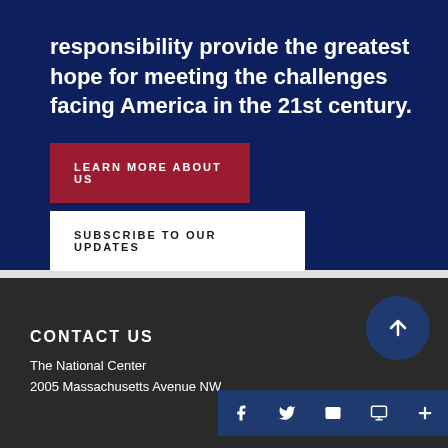responsibility provide the greatest hope for meeting the challenges facing America in the 21st century.
LEARN MORE ABOUT US
SUBSCRIBE TO OUR UPDATES
CONTACT US
The National Center
2005 Massachusetts Avenue NW